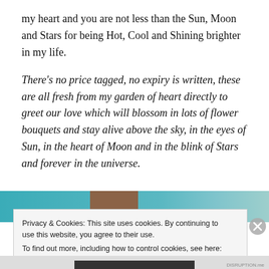my heart and you are not less than the Sun, Moon and Stars for being Hot, Cool and Shining brighter in my life.
There's no price tagged, no expiry is written, these are all fresh from my garden of heart directly to greet our love which will blossom in lots of flower bouquets and stay alive above the sky, in the eyes of Sun, in the heart of Moon and in the blink of Stars and forever in the universe.
[Figure (photo): Partial view of a teal/blue-toned image with a brown element, partially obscured by cookie banner]
Privacy & Cookies: This site uses cookies. By continuing to use this website, you agree to their use.
To find out more, including how to control cookies, see here: Cookie Policy
Close and accept